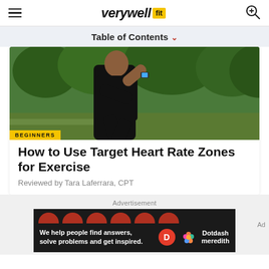verywell fit
Table of Contents
[Figure (photo): Man in black t-shirt checking his watch while running outdoors in a park with green trees in the background]
BEGINNERS
How to Use Target Heart Rate Zones for Exercise
Reviewed by Tara Laferrara, CPT
Advertisement
[Figure (screenshot): Dotdash Meredith advertisement banner: 'We help people find answers, solve problems and get inspired.']